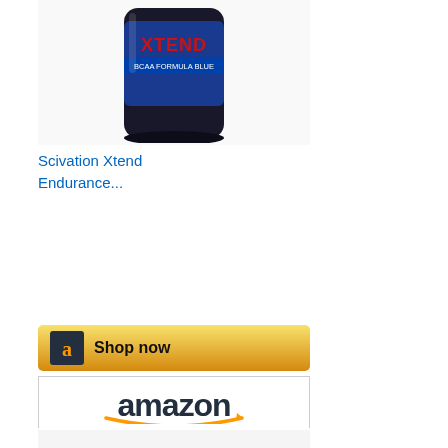[Figure (photo): Scivation Xtend protein supplement container, dark with blue label]
Scivation Xtend Endurance...
[Figure (other): Amazon 'Shop now' button with orange/yellow gradient and Amazon logo]
[Figure (other): Amazon logo header banner for second product listing]
[Figure (photo): Justin's Maple Almond Butter snack packs, box of multiple packets]
Justin's Maple Almond Butter...
$13.40
[Figure (other): Amazon Prime checkmark logo]
[Figure (other): Amazon 'Shop now' button with orange/yellow gradient and Amazon logo]
[Figure (other): Amazon logo header banner for third product listing]